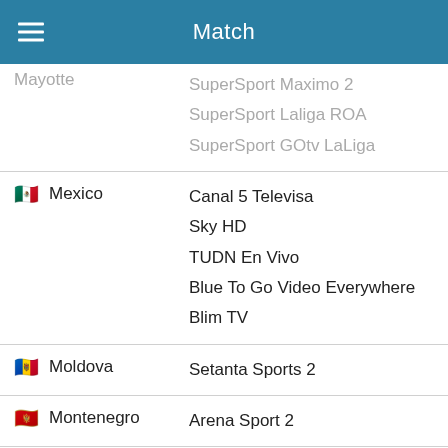Match
| Country | Channels |
| --- | --- |
| Mayotte | SuperSport Maximo 2
SuperSport Laliga ROA
SuperSport GOtv LaLiga |
| Mexico | Canal 5 Televisa
Sky HD
TUDN En Vivo
Blue To Go Video Everywhere
Blim TV |
| Moldova | Setanta Sports 2 |
| Montenegro | Arena Sport 2 |
| Montserrat | ESPN2 Caribbean
ESPNPlay Caribbean |
| Morocco | beIN Sports HD 1
beIN SPORTS CONNECT |